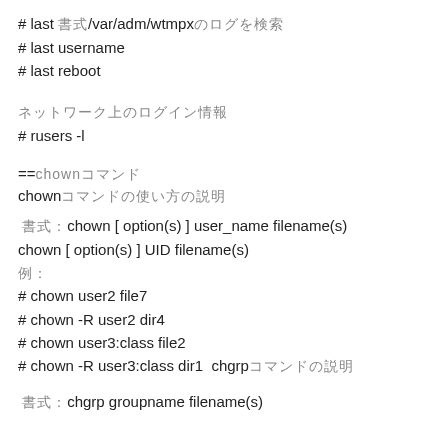# last 書式/var/adm/wtmpxのログを検索
# last username
# last reboot
ネットワーク上のログイン情報
# rusers -l
==chownコマンド
chownコマンドの使い方の説明
書式：chown [ option(s) ] user_name filename(s)
chown [ option(s) ] UID filename(s)
例：
# chown user2 file7
# chown -R user2 dir4
# chown user3:class file2
# chown -R user3:class dir1  chgrpコマンドの説明
書式：chgrp groupname filename(s)